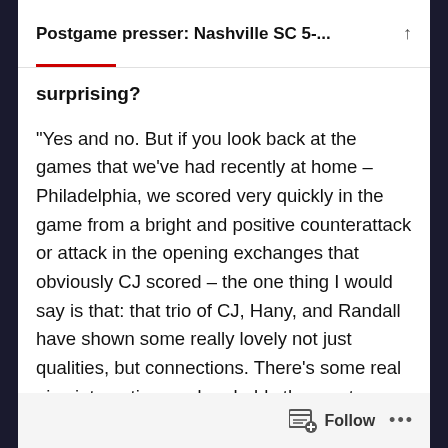Postgame presser: Nashville SC 5-...
surprising?
“Yes and no. But if you look back at the games that we’ve had recently at home – Philadelphia, we scored very quickly in the game from a bright and positive counterattack or attack in the opening exchanges that obviously CJ scored – the one thing I would say is that: that trio of CJ, Hany, and Randall have shown some really lovely not just qualities, but connections. There’s some real nice interaction, and probably the most productive thing about their play is they’re constantly on the
Follow ...